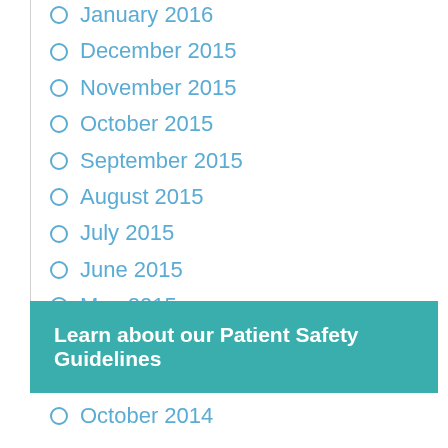January 2016
December 2015
November 2015
October 2015
September 2015
August 2015
July 2015
June 2015
May 2015
April 2015
March 2015
February 2015
January 2015
Learn about our Patient Safety Guidelines
October 2014